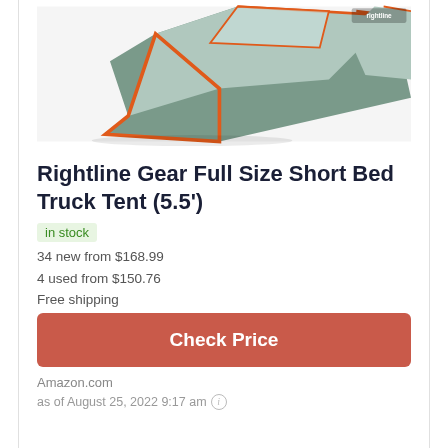[Figure (photo): Rightline Gear truck tent product photo showing a grey and orange tent fitted over a truck bed, viewed from above at an angle. The tent has orange trim and zippers, a skylight/window panel on top.]
Rightline Gear Full Size Short Bed Truck Tent (5.5')
in stock
34 new from $168.99
4 used from $150.76
Free shipping
Check Price
Amazon.com
as of August 25, 2022 9:17 am ℹ